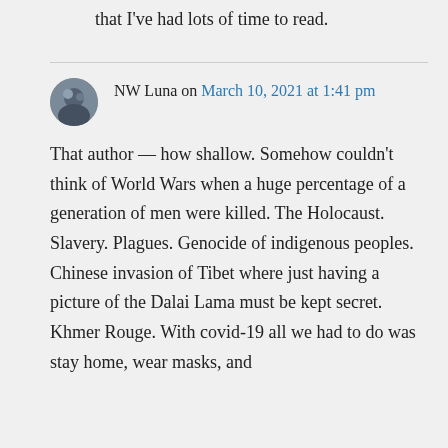that I've had lots of time to read.
NW Luna on March 10, 2021 at 1:41 pm
That author — how shallow. Somehow couldn't think of World Wars when a huge percentage of a generation of men were killed. The Holocaust. Slavery. Plagues. Genocide of indigenous peoples. Chinese invasion of Tibet where just having a picture of the Dalai Lama must be kept secret. Khmer Rouge. With covid-19 all we had to do was stay home, wear masks, and